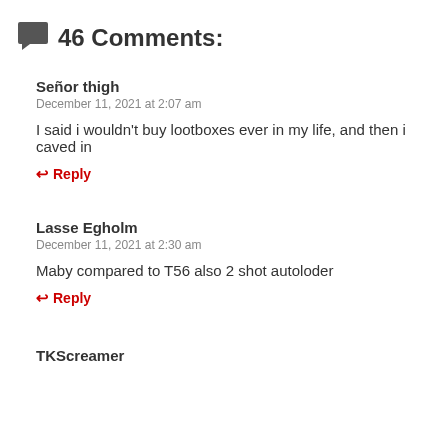46 Comments:
Señor thigh
December 11, 2021 at 2:07 am
I said i wouldn't buy lootboxes ever in my life, and then i caved in
↩ Reply
Lasse Egholm
December 11, 2021 at 2:30 am
Maby compared to T56 also 2 shot autoloder
↩ Reply
TKScreamer